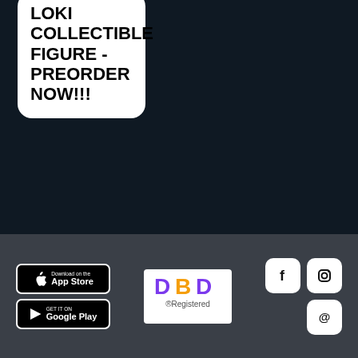LOKI COLLECTIBLE FIGURE - PREORDER NOW!!!
PRE-ORDER (WEBSITE) เริ่มต้นต้องไปจนกว่าสินค้าจะHDD
< 1 2 3 4 5 6 7 8 9 >
[Figure (logo): App Store download badge]
[Figure (logo): Google Play download badge]
[Figure (logo): DBD Registered badge - purple and gold text on white background]
[Figure (logo): Facebook icon - white 'f' on white circle with rounded square border]
[Figure (logo): Instagram icon - white camera outline on white rounded square]
[Figure (logo): At/email icon - white @ symbol on white rounded square]